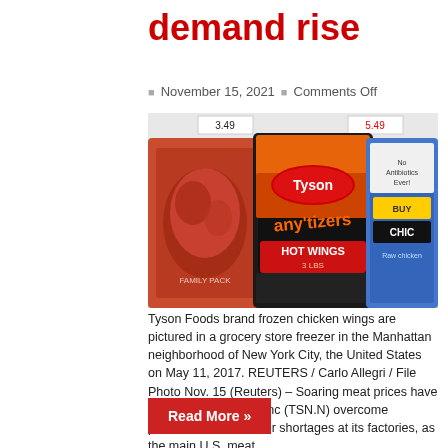demand rise
November 15, 2021   Comments Off
[Figure (photo): Tyson Foods brand frozen chicken wings (Tyson Any'tizers Hot Wings) pictured in a grocery store freezer in Manhattan, New York City.]
Tyson Foods brand frozen chicken wings are pictured in a grocery store freezer in the Manhattan neighborhood of New York City, the United States on May 11, 2017. REUTERS / Carlo Allegri / File Photo Nov. 15 (Reuters) – Soaring meat prices have helped Tyson Foods Inc (TSN.N) overcome pandemic-related labor shortages at its factories, as the main U.S. meat ...
Read More »